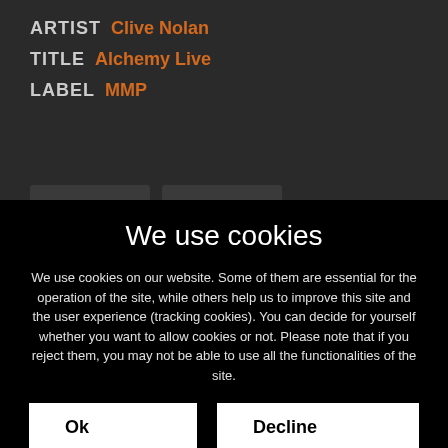ARTIST Clive Nolan
TITLE Alchemy Live
LABEL MMP
We use cookies
We use cookies on our website. Some of them are essential for the operation of the site, while others help us to improve this site and the user experience (tracking cookies). You can decide for yourself whether you want to allow cookies or not. Please note that if you reject them, you may not be able to use all the functionalities of the site.
Ok
Decline
More information